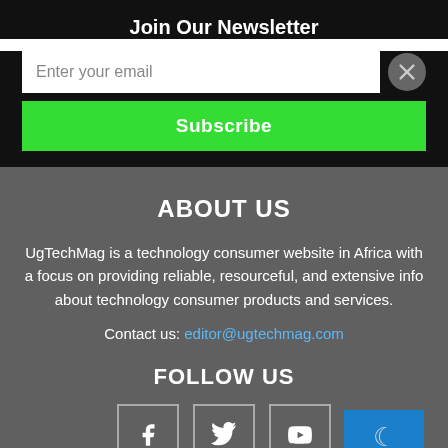Join Our Newsletter
Enter your email
Subscribe
ABOUT US
UgTechMag is a technology consumer website in Africa with a focus on providing reliable, resourceful, and extensive info about technology consumer products and services.
Contact us: editor@ugtechmag.com
FOLLOW US
[Figure (infographic): Three social media icon boxes: Facebook (f), Twitter (bird), YouTube (play button)]